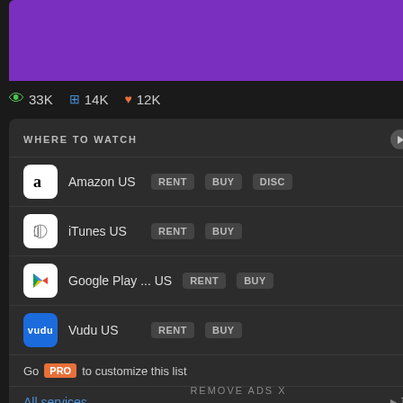[Figure (screenshot): Purple movie/show banner image (cropped at top)]
👁 33K  ⊞ 14K  ♥ 12K
WHERE TO WATCH  ▶ Trailer
Amazon US  RENT  BUY  DISC
iTunes US  RENT  BUY
Google Play ... US  RENT  BUY
Vudu US  RENT  BUY
Go PRO to customize this list
All services...  ▶JustWatch
REMOVE ADS X
Fuck, that's a pe part of it is so da of my new favor Bannister a wh
♥ 720 likes
Review by davide
This review may
♥ 629 likes
Review by demi a
Just perfect. I k so uniquely ren don't feel like fe only move we g Jones or Meliss